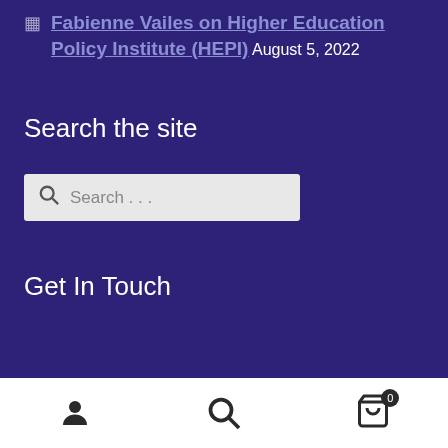Fabienne Vailes on Higher Education Policy Institute (HEPI) August 5, 2022
Search the site
Search …
Get In Touch
User icon | Search icon | Cart icon (0)